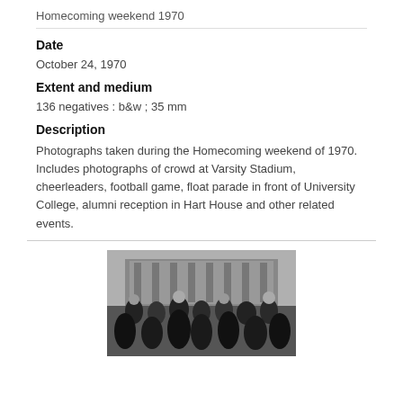Homecoming weekend 1970
Date
October 24, 1970
Extent and medium
136 negatives : b&w ; 35 mm
Description
Photographs taken during the Homecoming weekend of 1970. Includes photographs of crowd at Varsity Stadium, cheerleaders, football game, float parade in front of University College, alumni reception in Hart House and other related events.
[Figure (photo): Black and white photograph of cheerleaders or performers at an outdoor event, with a large building in the background, crowd visible.]